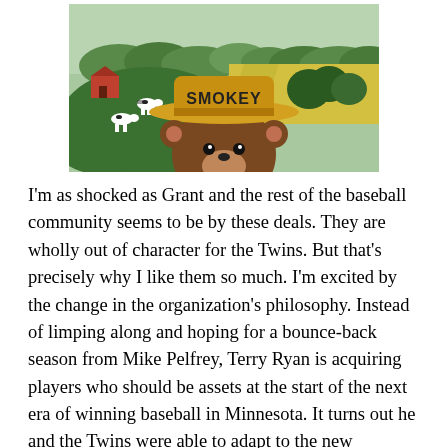[Figure (illustration): Illustrated scene showing Smokey the Bear wearing a hat labeled 'SMOKEY', peeking up from the bottom of the frame, with a colorful rural farm landscape in the background including green hills, trees, a red barn, cows, and yellow fields.]
I'm as shocked as Grant and the rest of the baseball community seems to be by these deals. They are wholly out of character for the Twins. But that's precisely why I like them so much. I'm excited by the change in the organization's philosophy. Instead of limping along and hoping for a bounce-back season from Mike Pelfrey, Terry Ryan is acquiring players who should be assets at the start of the next era of winning baseball in Minnesota. It turns out he and the Twins were able to adapt to the new financial realities of major league free agency, and that bodes incredibly